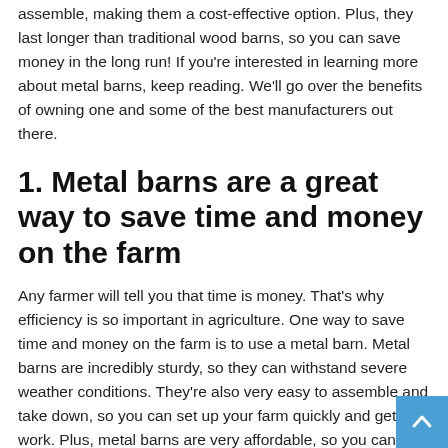assemble, making them a cost-effective option. Plus, they last longer than traditional wood barns, so you can save money in the long run! If you're interested in learning more about metal barns, keep reading. We'll go over the benefits of owning one and some of the best manufacturers out there.
1. Metal barns are a great way to save time and money on the farm
Any farmer will tell you that time is money. That's why efficiency is so important in agriculture. One way to save time and money on the farm is to use a metal barn. Metal barns are incredibly sturdy, so they can withstand severe weather conditions. They're also very easy to assemble and take down, so you can set up your farm quickly and get to work. Plus, metal barns are very affordable, so you can save money on